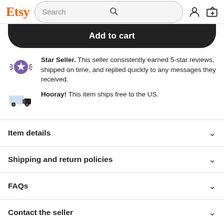Etsy — Search bar with user and cart icons
Add to cart
Star Seller. This seller consistently earned 5-star reviews, shipped on time, and replied quickly to any messages they received.
Hooray! This item ships free to the US.
Item details
Shipping and return policies
FAQs
Contact the seller